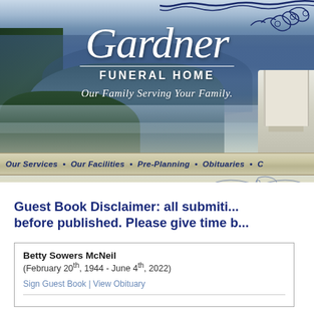[Figure (screenshot): Gardner Funeral Home website header banner with mountain landscape background, company logo 'Gardner FUNERAL HOME - Our Family Serving Your Family.' in white text, decorative navy scroll in top-right corner, and navigation bar reading 'Our Services • Our Facilities • Pre-Planning • Obituaries • ...']
Guest Book Disclaimer: all submiti... before published. Please give time b...
| Betty Sowers McNeil | (February 20th, 1944 - June 4th, 2022) | Sign Guest Book | View Obituary |